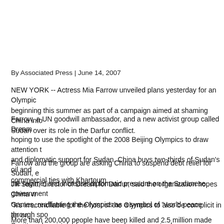By Associated Press  |  June 14, 2007
NEW YORK -- Actress Mia Farrow unveiled plans yesterday for an Olympic torch relay beginning this summer as part of a campaign aimed at shaming China into pressuring Sudan over its role in the Darfur conflict.
Farrow, a UN goodwill ambassador, and a new activist group called Dream for Darfur are hoping to use the spotlight of the 2008 Beijing Olympics to draw attention to China's military and diplomatic support for Sudan. China buys two-thirds of Sudan's oil and has extensive commercial ties with Khartoum.
Farrow and the group are asking China to suspend debt relief for Sudan, embargo arms to the regime, and increase diplomatic pressure on the Sudanese government.
Jill Savitt, director of Dream for Darfur, said the organization hopes China will host a clean Games, reaffirming the Olympics as a symbol of "world peace through spo...
"It's irreconcilable for the host of the Olympics to also be complicit in an on... Savitt said on a telephone press conference yesterday.
More than 200,000 people have been killed and 2.5 million made homeless...